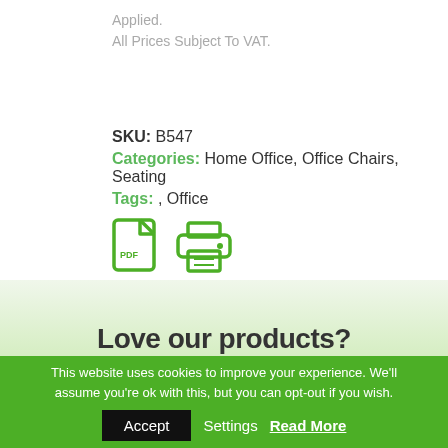Applied.
All Prices Subject To VAT.
SKU: B547
Categories: Home Office, Office Chairs, Seating
Tags: , Office
[Figure (illustration): Two green icons: a PDF document icon and a printer icon]
Love our products?
This website uses cookies to improve your experience. We'll assume you're ok with this, but you can opt-out if you wish.
Accept   Settings   Read More